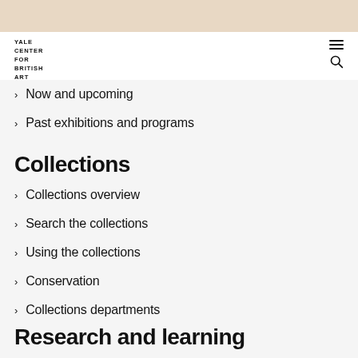YALE CENTER FOR BRITISH ART
Now and upcoming
Past exhibitions and programs
Collections
Collections overview
Search the collections
Using the collections
Conservation
Collections departments
Research and learning